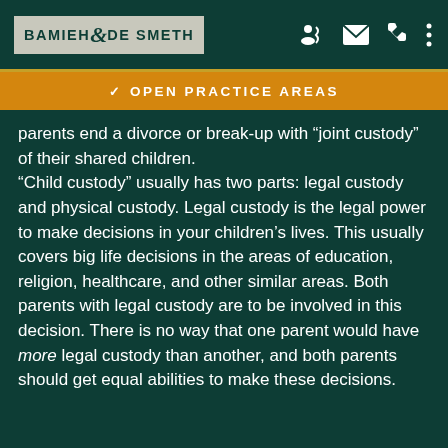BAMIEH & DE SMETH
OPEN PRACTICE AREAS
parents end a divorce or break-up with “joint custody” of their shared children.
“Child custody” usually has two parts: legal custody and physical custody. Legal custody is the legal power to make decisions in your children’s lives. This usually covers big life decisions in the areas of education, religion, healthcare, and other similar areas. Both parents with legal custody are to be involved in this decision. There is no way that one parent would have more legal custody than another, and both parents should get equal abilities to make these decisions.